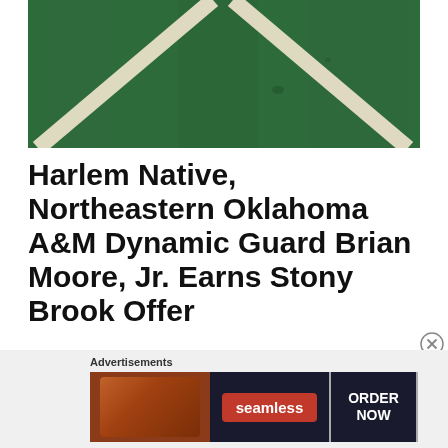[Figure (photo): Aerial or close-up view of a green basketball/sports court surface with white painted lines forming a V or arrow shape]
Harlem Native, Northeastern Oklahoma A&M Dynamic Guard Brian Moore, Jr. Earns Stony Brook Offer
january 15, 2022, posted in college basketball recruitment, high school basketball, sports
[Figure (other): Seamless food delivery advertisement banner with pizza image, Seamless logo, and ORDER NOW button]